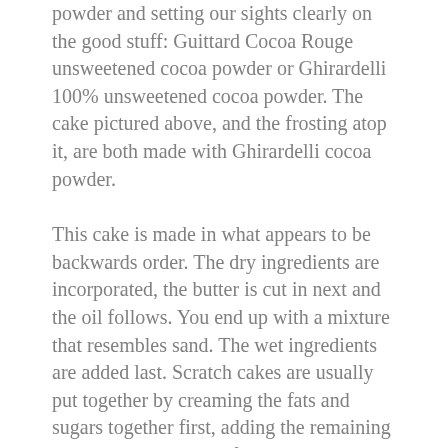powder and setting our sights clearly on the good stuff: Guittard Cocoa Rouge unsweetened cocoa powder or Ghirardelli 100% unsweetened cocoa powder. The cake pictured above, and the frosting atop it, are both made with Ghirardelli cocoa powder.
This cake is made in what appears to be backwards order. The dry ingredients are incorporated, the butter is cut in next and the oil follows. You end up with a mixture that resembles sand. The wet ingredients are added last. Scratch cakes are usually put together by creaming the fats and sugars together first, adding the remaining liquid ingredients and finally incorporating the flour so as to mix it the least amount of time to keep the gluten development to a minimum. But fear not. This cake has braved the crucible of reverse mixing